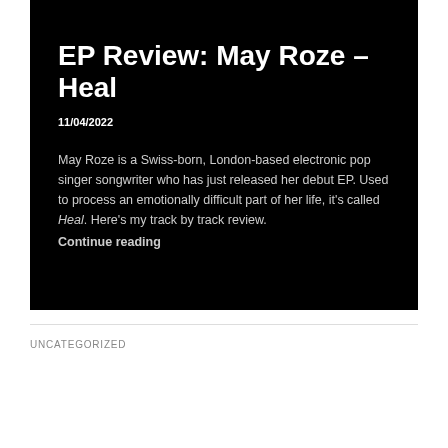EP Review: May Roze – Heal
11/04/2022
May Roze is a Swiss-born, London-based electronic pop singer songwriter who has just released her debut EP. Used to process an emotionally difficult part of her life, it's called Heal. Here's my track by track review.
Continue reading
UNCATEGORIZED